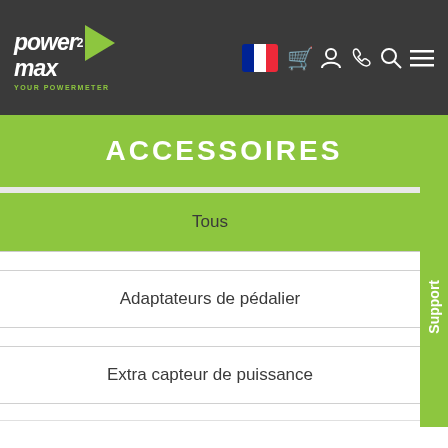Power2Max - Your Powermeter | ACCESSOIRES
ACCESSOIRES
Tous
Adaptateurs de pédalier
Extra capteur de puissance
In order to optimize our website for you and to be able to continuously improve it, we use cookies. By continuing to use the website you agree to the use of cookies. Further information on cookies can be found in our privacy policy.
OK